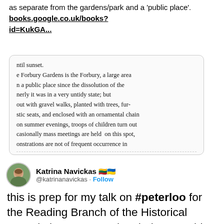as separate from the gardens/park and a 'public place'. books.google.co.uk/books?id=KukGA...
[Figure (screenshot): Scanned historical text snippet about Forbury Gardens from a book, showing partial sentences about it being a public place since dissolution, with gravel walks, trees, seats, ornamental chain, summer evenings, mass meetings, demonstrations.]
Katrina Navickas 🇱🇹🇺🇦 @katrinanavickas · Follow
this is prep for my talk on #peterloo for the Reading Branch of the Historical Association next month. Glad I can add some local historical context. [Globe, 16 Nov 1819]